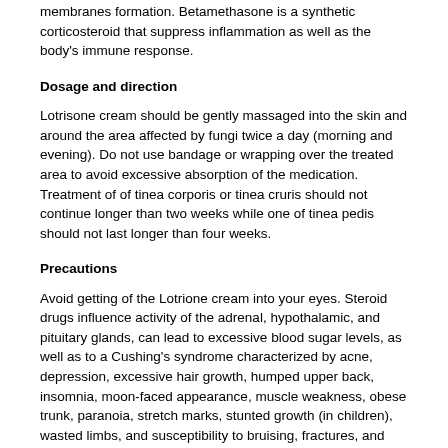membranes formation. Betamethasone is a synthetic corticosteroid that suppress inflammation as well as the body's immune response.
Dosage and direction
Lotrisone cream should be gently massaged into the skin and around the area affected by fungi twice a day (morning and evening). Do not use bandage or wrapping over the treated area to avoid excessive absorption of the medication. Treatment of of tinea corporis or tinea cruris should not continue longer than two weeks while one of tinea pedis should not last longer than four weeks.
Precautions
Avoid getting of the Lotrione cream into your eyes. Steroid drugs influence activity of the adrenal, hypothalamic, and pituitary glands, can lead to excessive blood sugar levels, as well as to a Cushing's syndrome characterized by acne, depression, excessive hair growth, humped upper back, insomnia, moon-faced appearance, muscle weakness, obese trunk, paranoia, stretch marks, stunted growth (in children), wasted limbs, and susceptibility to bruising, fractures, and infection.
Contraindications
This medication cannot be used in children younger 17 y.o., in individuals with hypersensitivity to the components. Medicines are individually prescribed by a doctor but not limited to the above mentioned cases.